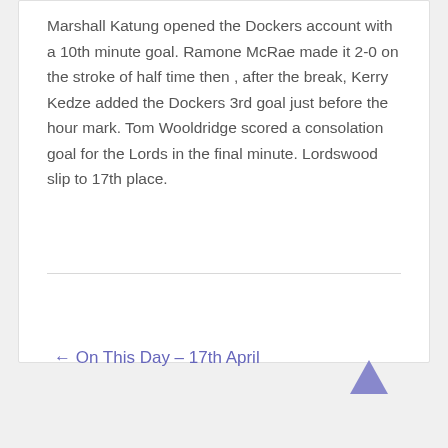Marshall Katung opened the Dockers account with a 10th minute goal. Ramone McRae made it 2-0 on the stroke of half time then , after the break, Kerry Kedze added the Dockers 3rd goal just before the hour mark. Tom Wooldridge scored a consolation goal for the Lords in the final minute. Lordswood slip to 17th place.
← On This Day – 17th April